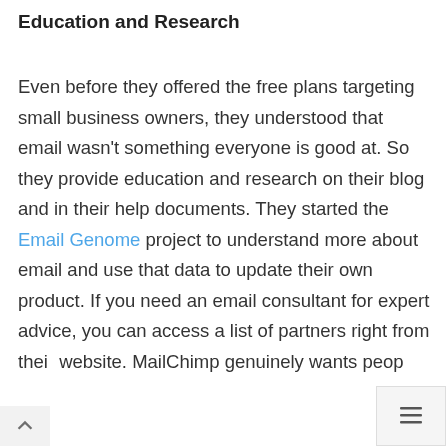Education and Research
Even before they offered the free plans targeting small business owners, they understood that email wasn't something everyone is good at. So they provide education and research on their blog and in their help documents. They started the Email Genome project to understand more about email and use that data to update their own product. If you need an email consultant for expert advice, you can access a list of partners right from their website. MailChimp genuinely wants peop...